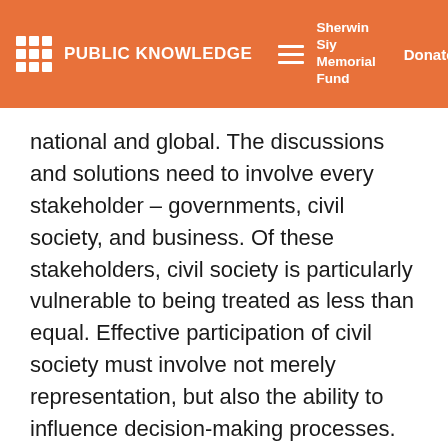PUBLIC KNOWLEDGE | Sherwin Siy Memorial Fund | Donate
national and global. The discussions and solutions need to involve every stakeholder – governments, civil society, and business. Of these stakeholders, civil society is particularly vulnerable to being treated as less than equal. Effective participation of civil society must involve not merely representation, but also the ability to influence decision-making processes.
Civil society